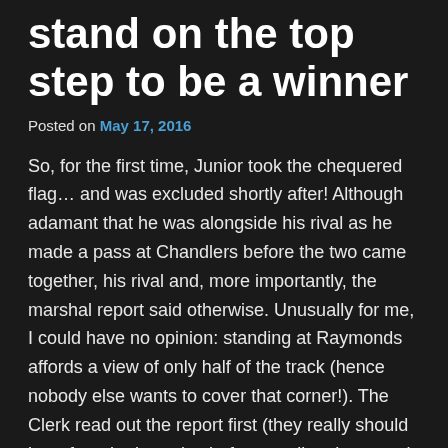stand on the top step to be a winner
Posted on May 17, 2016
So, for the first time, Junior took the chequered flag… and was excluded shortly after! Although adamant that he was alongside his rival as he made a pass at Chandlers before the two came together, his rival and, more importantly, the marshal report said otherwise. Unusually for me, I could have no opinion: standing at Raymonds affords a view of only half of the track (hence nobody else wants to cover that corner!). The Clerk read out the report first (they really should hear from both parties before reading the report), our rival said their bit and then chirped in a few wisecracks as Junior put up his defence. The marshal was summoned who reiterated his write-up (I'm not sure what else he would do) and we were hung, drawn and quartered. More disappointingly, we rushed to review the